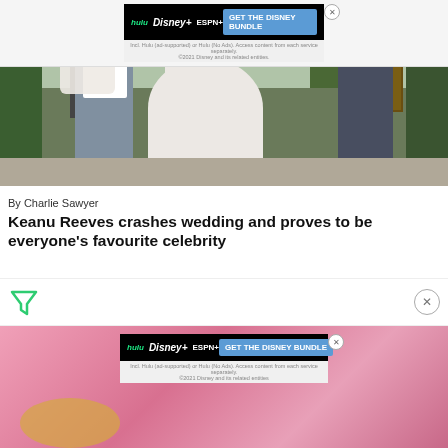[Figure (photo): Disney Bundle advertisement banner at top with hulu, Disney+, ESPN+ logos and 'GET THE DISNEY BUNDLE' call to action]
[Figure (photo): Wedding photo showing a bride in white dress flanked by two men in suits, outdoors with hedges and a lamp post in the background]
By Charlie Sawyer
Keanu Reeves crashes wedding and proves to be everyone's favourite celebrity
[Figure (other): Filter/funnel icon for ad filtering, with close X button on the right]
[Figure (photo): Second Disney Bundle advertisement banner with pink background photo partially visible behind it. Shows hulu, Disney+, ESPN+ logos and 'GET THE DISNEY BUNDLE' call to action]